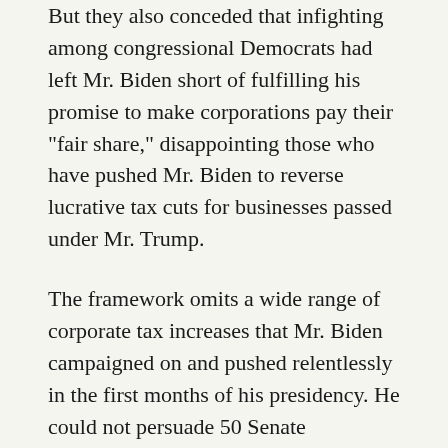But they also conceded that infighting among congressional Democrats had left Mr. Biden short of fulfilling his promise to make corporations pay their “fair share,” disappointing those who have pushed Mr. Biden to reverse lucrative tax cuts for businesses passed under Mr. Trump.
The framework omits a wide range of corporate tax increases that Mr. Biden campaigned on and pushed relentlessly in the first months of his presidency. He could not persuade 50 Senate Democrats to raise the corporate income tax rate to 28 percent from 21 percent, or even to a compromise 25 percent, or to eliminate incentives that allow some large firms — like fossil fuel producers — to reduce their tax bills.
“It’s a tiny, tiny, tiny, tiny, step,” Erica Payne, the president of a group called Patriotic Millionaires that has urged